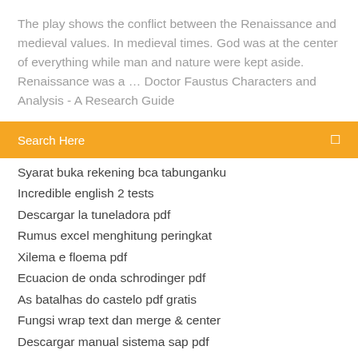The play shows the conflict between the Renaissance and medieval values. In medieval times. God was at the center of everything while man and nature were kept aside. Renaissance was a … Doctor Faustus Characters and Analysis - A Research Guide
Search Here
Syarat buka rekening bca tabunganku
Incredible english 2 tests
Descargar la tuneladora pdf
Rumus excel menghitung peringkat
Xilema e floema pdf
Ecuacion de onda schrodinger pdf
As batalhas do castelo pdf gratis
Fungsi wrap text dan merge & center
Descargar manual sistema sap pdf
Buku bahasa inggris kelas 8 k13